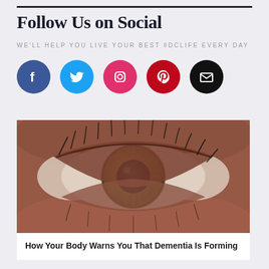Follow Us on Social
WE'LL HELP YOU LIVE YOUR BEST #DCLIFE EVERY DAY
[Figure (illustration): Five social media icon circles: Facebook (blue), Twitter (light blue), Instagram (pink/magenta), Pinterest (red), Email (black)]
[Figure (photo): Close-up macro photograph of a human eye with a hazel/green iris and dark pupil, skin texture visible around the eye]
How Your Body Warns You That Dementia Is Forming